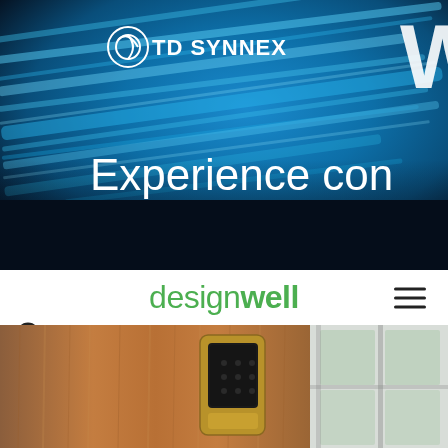[Figure (screenshot): TD SYNNEX banner with blue light streak background and white text 'Experience con...' partially visible]
designwell
[Figure (screenshot): Bottom portion showing a wooden door with a gold/black smart lock keypad, blurred background with window]